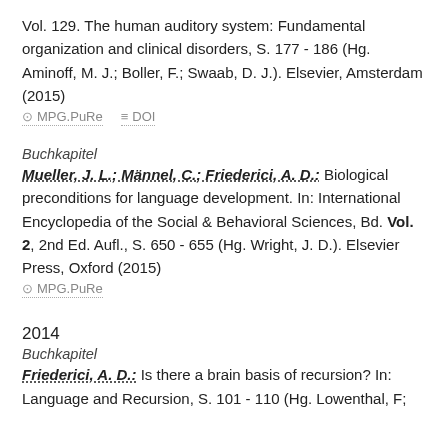Vol. 129. The human auditory system: Fundamental organization and clinical disorders, S. 177 - 186 (Hg. Aminoff, M. J.; Boller, F.; Swaab, D. J.). Elsevier, Amsterdam (2015)
MPG.PuRe   DOI
Buchkapitel
Mueller, J. L.; Männel, C.; Friederici, A. D.: Biological preconditions for language development. In: International Encyclopedia of the Social & Behavioral Sciences, Bd. Vol. 2, 2nd Ed. Aufl., S. 650 - 655 (Hg. Wright, J. D.). Elsevier Press, Oxford (2015)
MPG.PuRe
2014
Buchkapitel
Friederici, A. D.: Is there a brain basis of recursion? In: Language and Recursion, S. 101 - 110 (Hg. Lowenthal, F; ...